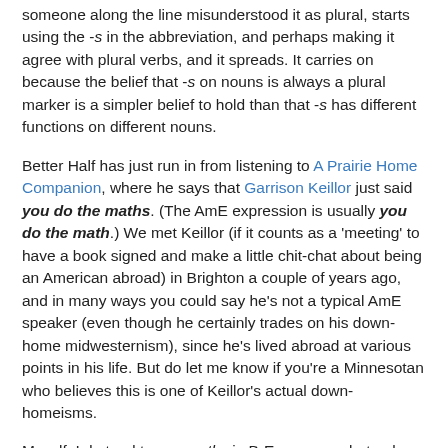someone along the line misunderstood it as plural, starts using the -s in the abbreviation, and perhaps making it agree with plural verbs, and it spreads. It carries on because the belief that -s on nouns is always a plural marker is a simpler belief to hold than that -s has different functions on different nouns.
Better Half has just run in from listening to A Prairie Home Companion, where he says that Garrison Keillor just said you do the maths. (The AmE expression is usually you do the math.) We met Keillor (if it counts as a 'meeting' to have a book signed and make a little chit-chat about being an American abroad) in Brighton a couple of years ago, and in many ways you could say he's not a typical AmE speaker (even though he certainly trades on his down-home midwesternism), since he's lived abroad at various points in his life. But do let me know if you're a Minnesotan who believes this is one of Keillor's actual down-homeisms.
Myself, I do tend to say maths in BrE company, but only because it's so painful not to. Can you imagine if I had to say all of the above every time I was unjustly castigated?